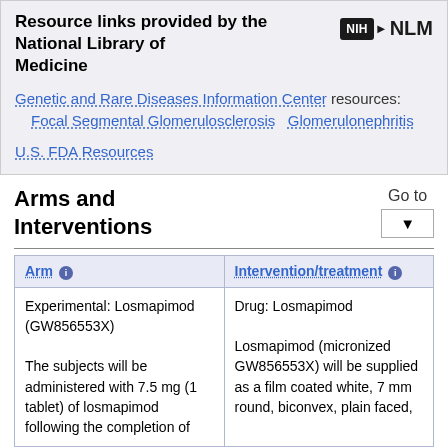Resource links provided by the National Library of Medicine
Genetic and Rare Diseases Information Center resources: Focal Segmental Glomerulosclerosis  Glomerulonephritis
U.S. FDA Resources
Arms and Interventions
| Arm | Intervention/treatment |
| --- | --- |
| Experimental: Losmapimod (GW856553X)
The subjects will be administered with 7.5 mg (1 tablet) of losmapimod following the completion of | Drug: Losmapimod
Losmapimod (micronized GW856553X) will be supplied as a film coated white, 7 mm round, biconvex, plain faced, |